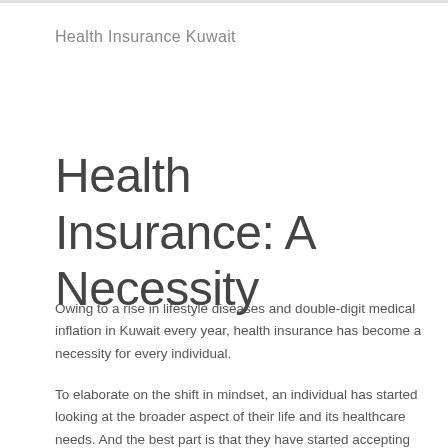Health Insurance Kuwait
Health Insurance: A Necessity
Owing to a rise in lifestyle diseases and double-digit medical inflation in Kuwait every year, health insurance has become a necessity for every individual.
To elaborate on the shift in mindset, an individual has started looking at the broader aspect of their life and its healthcare needs. And the best part is that they have started accepting the